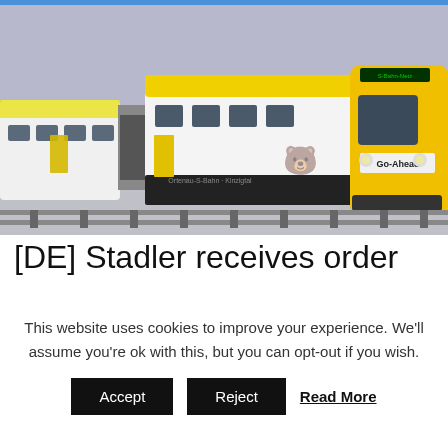[Figure (photo): A yellow and white passenger train (Go-Ahead livery) on tracks, with a light purple/grey background. The train has yellow front and roof, white body, and displays 'Go-Ahead' branding on the front cab.]
[DE] Stadler receives order
This website uses cookies to improve your experience. We'll assume you're ok with this, but you can opt-out if you wish.
Accept   Reject   Read More